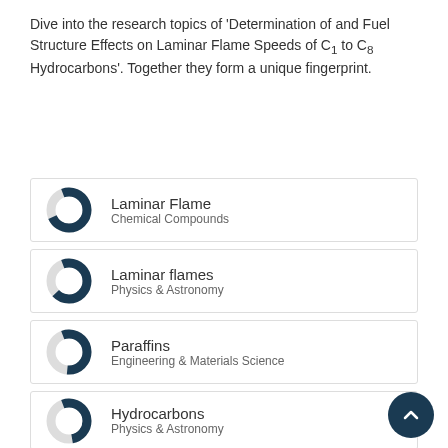Dive into the research topics of 'Determination of and Fuel Structure Effects on Laminar Flame Speeds of C₁ to C₈ Hydrocarbons'. Together they form a unique fingerprint.
[Figure (donut-chart): Donut chart icon for Laminar Flame / Chemical Compounds]
Laminar Flame
Chemical Compounds
[Figure (donut-chart): Donut chart icon for Laminar flames / Physics & Astronomy]
Laminar flames
Physics & Astronomy
[Figure (donut-chart): Donut chart icon for Paraffins / Engineering & Materials Science]
Paraffins
Engineering & Materials Science
[Figure (donut-chart): Donut chart icon for Hydrocarbons / Physics & Astronomy]
Hydrocarbons
Physics & Astronomy
[Figure (donut-chart): Donut chart icon for Alkanes / Physics & Astronomy]
Alkanes
Physics & Astronomy